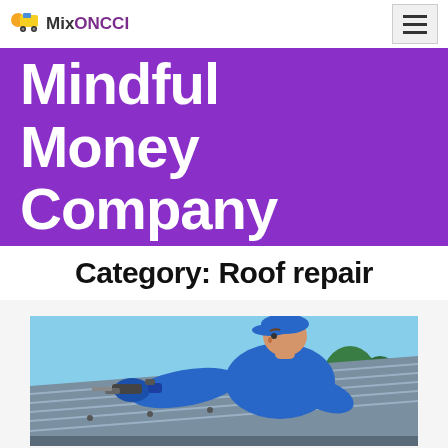MixONCCI — Mindful Money Company
Mindful
Money
Company
Category: Roof repair
[Figure (photo): A man in a blue shirt and blue cap working on a metal roof, leaning forward with tools, with trees and sky visible in the background.]